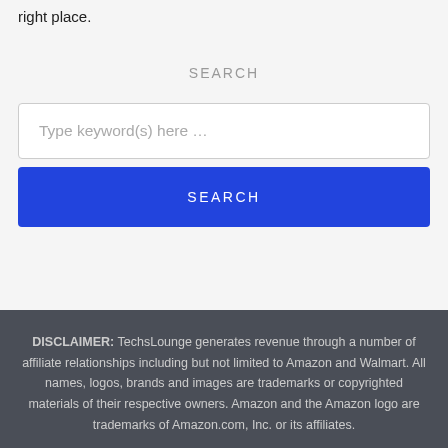right place.
SEARCH
Type keyword(s) here …
SEARCH
DISCLAIMER: TechsLounge generates revenue through a number of affiliate relationships including but not limited to Amazon and Walmart. All names, logos, brands and images are trademarks or copyrighted materials of their respective owners. Amazon and the Amazon logo are trademarks of Amazon.com, Inc. or its affiliates.